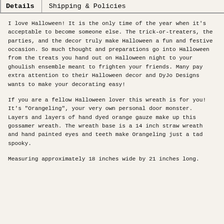Details | Shipping & Policies
I love Halloween! It is the only time of the year when it's acceptable to become someone else. The trick-or-treaters, the parties, and the decor truly make Halloween a fun and festive occasion. So much thought and preparations go into Halloween from the treats you hand out on Halloween night to your ghoulish ensemble meant to frighten your friends. Many pay extra attention to their Halloween decor and DyJo Designs wants to make your decorating easy!
If you are a fellow Halloween lover this wreath is for you! It's "Orangeling", your very own personal door monster. Layers and layers of hand dyed orange gauze make up this gossamer wreath. The wreath base is a 14 inch straw wreath and hand painted eyes and teeth make Orangeling just a tad spooky.
Measuring approximately 18 inches wide by 21 inches long.